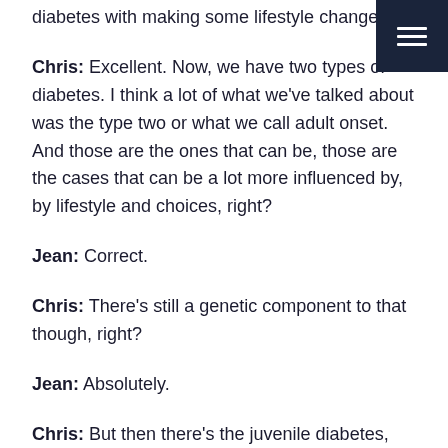diabetes with making some lifestyle changes.
Chris: Excellent. Now, we have two types of diabetes. I think a lot of what we've talked about was the type two or what we call adult onset. And those are the ones that can be, those are the cases that can be a lot more influenced by, by lifestyle and choices, right?
Jean: Correct.
Chris: There's still a genetic component to that though, right?
Jean: Absolutely.
Chris: But then there's the juvenile diabetes, which is the type one, correct?